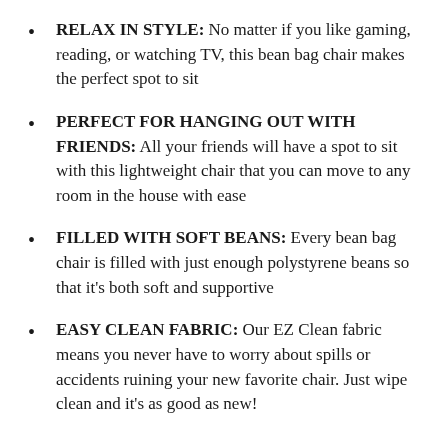RELAX IN STYLE: No matter if you like gaming, reading, or watching TV, this bean bag chair makes the perfect spot to sit
PERFECT FOR HANGING OUT WITH FRIENDS: All your friends will have a spot to sit with this lightweight chair that you can move to any room in the house with ease
FILLED WITH SOFT BEANS: Every bean bag chair is filled with just enough polystyrene beans so that it's both soft and supportive
EASY CLEAN FABRIC: Our EZ Clean fabric means you never have to worry about spills or accidents ruining your new favorite chair. Just wipe clean and it's as good as new!